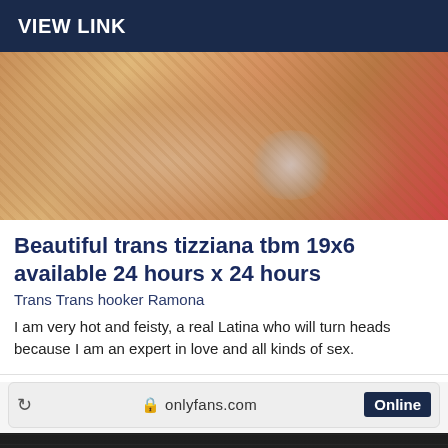VIEW LINK
[Figure (photo): Close-up photo showing a person wearing a bracelet, with warm orange/red tones in the background]
Beautiful trans tizziana tbm 19x6 available 24 hours x 24 hours
Trans Trans hooker Ramona
I am very hot and feisty, a real Latina who will turn heads because I am an expert in love and all kinds of sex.
[Figure (screenshot): Browser bar showing onlyfans.com URL (mirrored) with Online badge, and a mirrored image thumbnail below showing CLARA.NINFETINHA with 4 Postos text]
CLARA.NINFETINHA 4 Postos